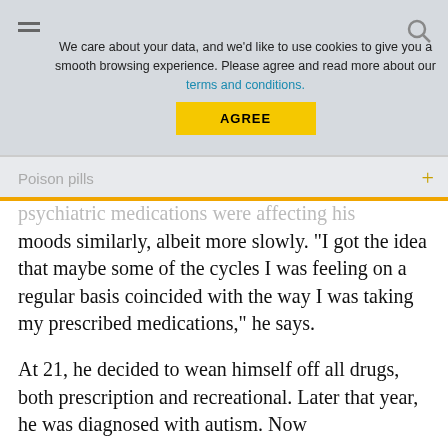We care about your data, and we'd like to use cookies to give you a smooth browsing experience. Please agree and read more about our terms and conditions. AGREE
Poison pills
psychiatric medications were affecting his moods similarly, albeit more slowly. “I got the idea that maybe some of the cycles I was feeling on a regular basis coincided with the way I was taking my prescribed medications,” he says.
At 21, he decided to wean himself off all drugs, both prescription and recreational. Later that year, he was diagnosed with autism. Now